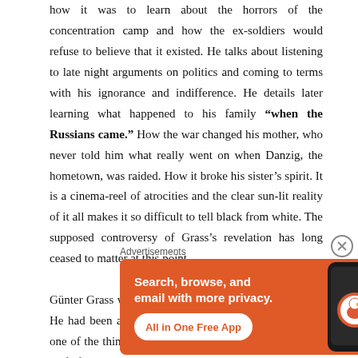how it was to learn about the horrors of the concentration camp and how the ex-soldiers would refuse to believe that it existed. He talks about listening to late night arguments on politics and coming to terms with his ignorance and indifference. He details later learning what happened to his family "when the Russians came." How the war changed his mother, who never told him what really went on when Danzig, the hometown, was raided. How it broke his sister's spirit. It is a cinema-reel of atrocities and the clear sun-lit reality of it all makes it so difficult to tell black from white. The supposed controversy of Grass's revelation has long ceased to matter at this point.
Günter Grass was a sculptor. This, I did not know at all. He had been an art enthusiast as a child and artist was one of the things he wanted to grow up to be. A waning half of the book is about his
Advertisements
[Figure (infographic): DuckDuckGo advertisement banner. Orange background with white text: 'Search, browse, and email with more privacy.' and 'All in One Free App' button. Right side shows a smartphone with DuckDuckGo logo and 'DuckDuckGo.' text.]